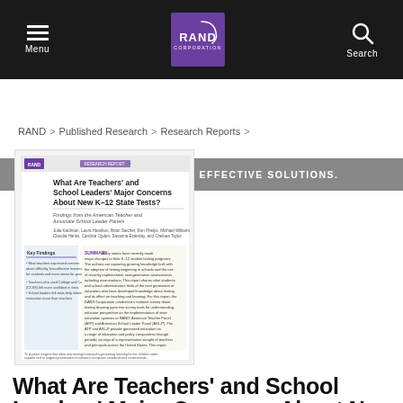Menu | RAND CORPORATION | Search
OBJECTIVE ANALYSIS. EFFECTIVE SOLUTIONS.
RAND > Published Research > Research Reports >
[Figure (screenshot): Thumbnail of RAND research report cover: 'What Are Teachers' and School Leaders' Major Concerns About New K-12 State Tests?' with RAND logo, authors, and summary text visible.]
What Are Teachers' and School Leaders' Major Concerns About New